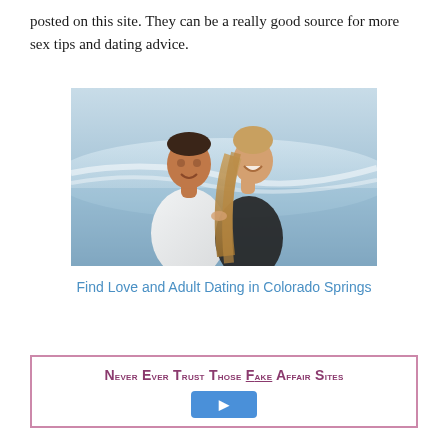posted on this site. They can be a really good source for more sex tips and dating advice.
[Figure (photo): A smiling couple embracing outdoors near a beach, man in white shirt and woman in black top with long hair, laughing together]
Find Love and Adult Dating in Colorado Springs
Never Ever Trust Those Fake Affair Sites